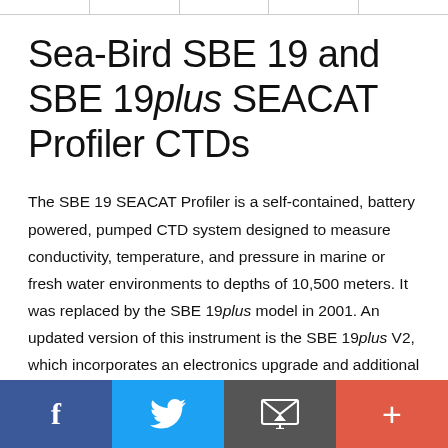Sea-Bird SBE 19 and SBE 19plus SEACAT Profiler CTDs
The SBE 19 SEACAT Profiler is a self-contained, battery powered, pumped CTD system designed to measure conductivity, temperature, and pressure in marine or fresh water environments to depths of 10,500 meters. It was replaced by the SBE 19plus model in 2001. An updated version of this instrument is the SBE 19plus V2, which incorporates an electronics upgrade and additional features, with six differentially amplified A/D input channels, one RS-232 data input channel, and 64 MB FLASH memory.
Share bar: Facebook, Twitter, Email, Plus